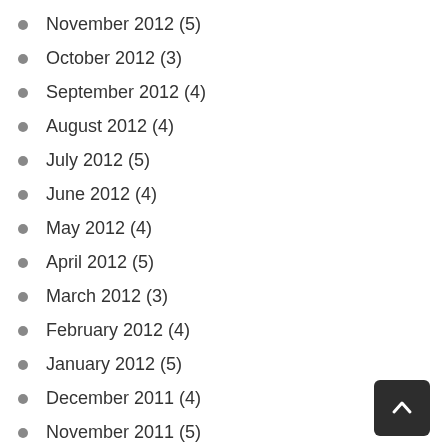November 2012 (5)
October 2012 (3)
September 2012 (4)
August 2012 (4)
July 2012 (5)
June 2012 (4)
May 2012 (4)
April 2012 (5)
March 2012 (3)
February 2012 (4)
January 2012 (5)
December 2011 (4)
November 2011 (5)
October 2011 (4)
September 2011 (4)
August 2011 (5)
July 2011 (4)